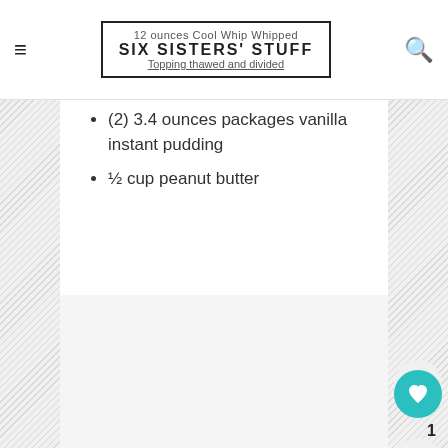SIX SISTERS' STUFF
12 ounces Cool Whip Whipped Topping thawed and divided
(2) 3.4 ounces packages vanilla instant pudding
½ cup peanut butter
[Figure (photo): Image placeholder / recipe photo area (light gray background)]